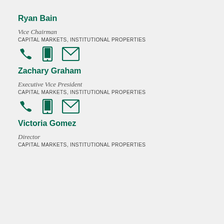Ryan Bain
Vice Chairman
CAPITAL MARKETS, INSTITUTIONAL PROPERTIES
[Figure (infographic): Three contact icons: phone, mobile, envelope in dark green]
Zachary Graham
Executive Vice President
CAPITAL MARKETS, INSTITUTIONAL PROPERTIES
[Figure (infographic): Three contact icons: phone, mobile, envelope in dark green]
Victoria Gomez
Director
CAPITAL MARKETS, INSTITUTIONAL PROPERTIES